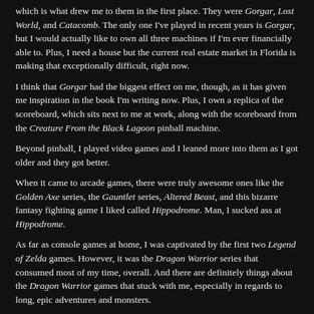which is what drew me to them in the first place. They were Gorgar, Lost World, and Catacomb. The only one I've played in recent years is Gorgar, but I would actually like to own all three machines if I'm ever financially able to. Plus, I need a house but the current real estate market in Florida is making that exceptionally difficult, right now.
I think that Gorgar had the biggest effect on me, though, as it has given me inspiration in the book I'm writing now. Plus, I own a replica of the scoreboard, which sits next to me at work, along with the scoreboard from the Creature From the Black Lagoon pinball machine.
Beyond pinball, I played video games and I leaned more into them as I got older and they got better.
When it came to arcade games, there were truly awesome ones like the Golden Axe series, the Gauntlet series, Altered Beast, and this bizarre fantasy fighting game I liked called Hippodrome. Man, I sucked ass at Hippodrome.
As far as console games at home, I was captivated by the first two Legend of Zelda games. However, it was the Dragon Warrior series that consumed most of my time, overall. And there are definitely things about the Dragon Warrior games that stuck with me, especially in regards to long, epic adventures and monsters.